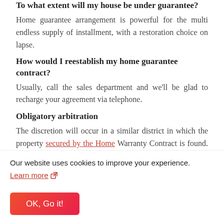To what extent will my house be under guarantee?
Home guarantee arrangement is powerful for the multi endless supply of installment, with a restoration choice on lapse.
How would I reestablish my home guarantee contract?
Usually, call the sales department and we'll be glad to recharge your agreement via telephone.
Obligatory arbitration
The discretion will occur in a similar district in which the property secured by the Home Warranty Contract is found. The authority's choice should be last, official, and non-appealable. Judgment might be entered and authorized in any court having a locale. This statement is made in accordance
Our website uses cookies to improve your experience.
Learn more
OK, Go it!